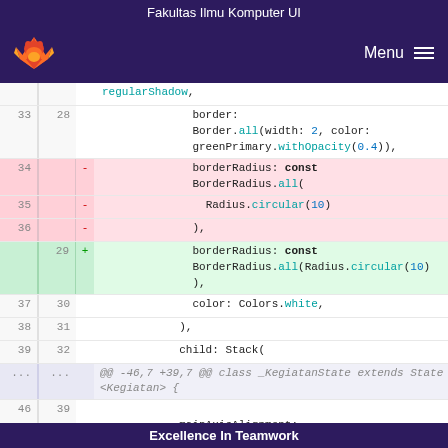Fakultas Ilmu Komputer UI
[Figure (screenshot): GitLab-style navigation bar with fox logo on left and Menu hamburger icon on right, dark purple background]
Code diff screenshot showing Flutter/Dart code with line numbers, removed lines (red) and added lines (green) for borderRadius refactoring
Excellence In Teamwork